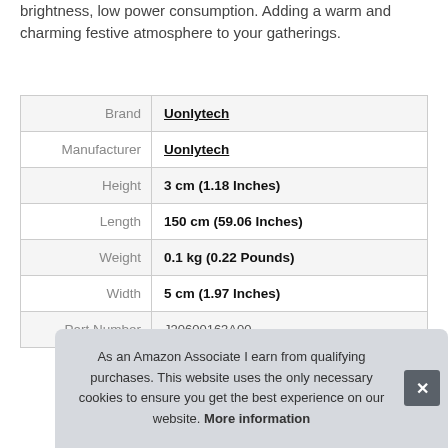brightness, low power consumption. Adding a warm and charming festive atmosphere to your gatherings.
| Brand | Uonlytech |
| Manufacturer | Uonlytech |
| Height | 3 cm (1.18 Inches) |
| Length | 150 cm (59.06 Inches) |
| Weight | 0.1 kg (0.22 Pounds) |
| Width | 5 cm (1.97 Inches) |
| Part Number | J20600163A00 |
As an Amazon Associate I earn from qualifying purchases. This website uses the only necessary cookies to ensure you get the best experience on our website. More information